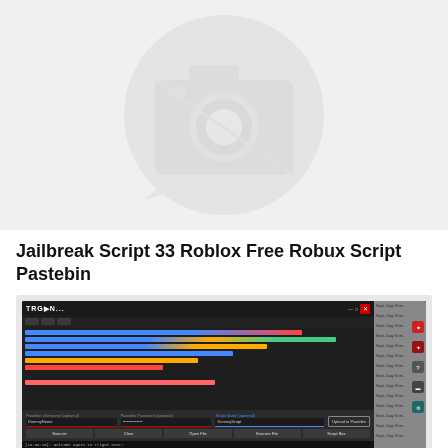[Figure (illustration): Large placeholder image with a camera icon on a light gray circular background, indicating a missing or unavailable image]
Jailbreak Script 33 Roblox Free Robux Script Pastebin
[Figure (screenshot): Screenshot of a Roblox exploit tool called TRIGON with a dark UI, code editor showing colored script lines, input fields labeled DummyName and DummyScript, buttons for Execute, Clear, Open File, Execute File, Script Box, and Upload to Pastebin, a console log at the bottom, and a right sidebar with script copy options and colored icons]